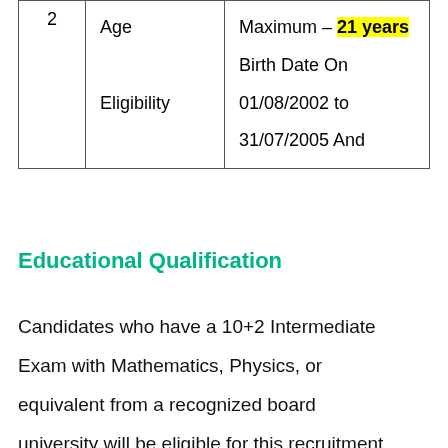| # | Category | Details |
| --- | --- | --- |
| 2 | Age
Eligibility | Maximum – 21 years
Birth Date On
01/08/2002 to
31/07/2005 And |
Educational Qualification
Candidates who have a 10+2 Intermediate Exam with Mathematics, Physics, or equivalent from a recognized board university will be eligible for this recruitment